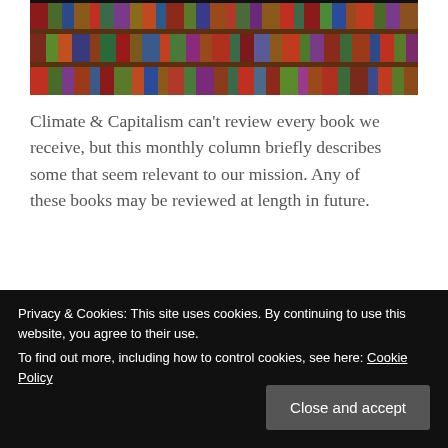[Figure (photo): A bookshelf filled with many colorful books arranged on multiple shelves, viewed from the front.]
Climate & Capitalism can't review every book we receive, but this monthly column briefly describes some that seem relevant to our mission. Any of these books may be reviewed at length in future.
by Ian Angus
Continue reading →
Privacy & Cookies: This site uses cookies. By continuing to use this website, you agree to their use.
To find out more, including how to control cookies, see here: Cookie Policy